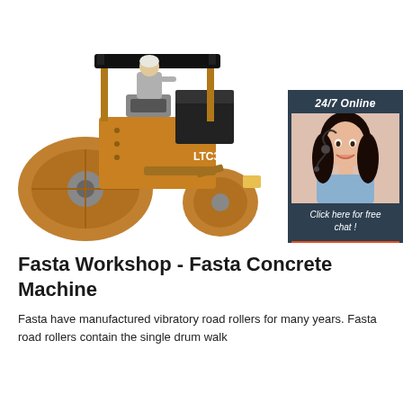[Figure (photo): A yellow Bomag/LTC3.5F vibratory tandem road roller machine with an operator seated on top, shown on a white background. To the right is a dark blue chat widget panel showing '24/7 Online', a photo of a female customer service representative wearing a headset, 'Click here for free chat!' text, and an orange 'QUOTATION' button.]
Fasta Workshop - Fasta Concrete Machine
Fasta have manufactured vibratory road rollers for many years. Fasta road rollers contain the single drum walk